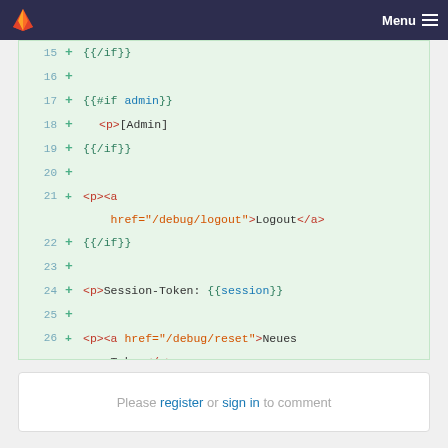Menu
[Figure (screenshot): GitLab code diff viewer showing lines 15-27 of a template file with syntax-highlighted code additions including Handlebars template syntax and HTML anchor tags for /debug/logout, /debug/reset, and /debug/create routes]
Please register or sign in to comment